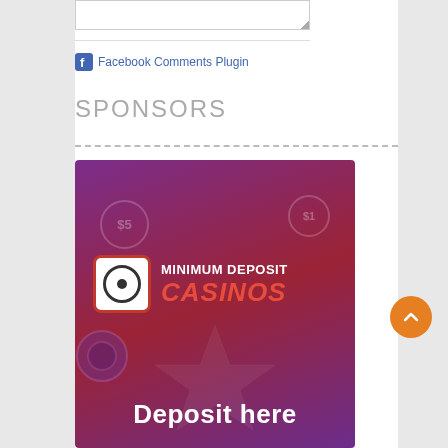[Figure (other): Textarea input box with resize handle at bottom right]
Facebook Comments Plugin
SPONSORS
[Figure (advertisement): Minimum Deposit Casinos advertisement banner with purple/maroon gradient background, coin graphics showing $5 and $1, logo with camera-like icon, text reading MINIMUM DEPOSIT CASINOS and Deposit here]